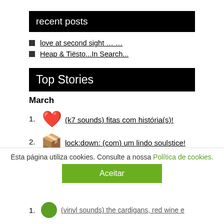recent posts
love at second sight … …
Heap & Tiësto...In Search...
Top Stories
March
1. (k7 sounds) fitas com história(s)!
2. lock:down: (com) um lindo soulstice!
3. _gai soleil … som mágico que brilha pelas colunas!
Esta página utiliza cookies. Consulte a nossa Política de cookies.
Aceitar
1. (vinyl sounds) the cardigans, red wine e